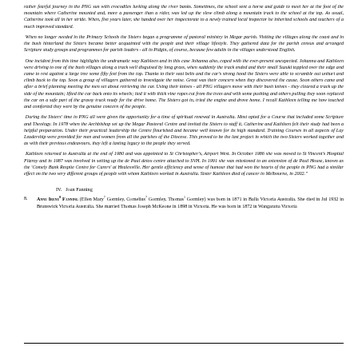rather fearful journey in the PNG sun with crocodiles lurking along the river banks. Sometimes, the school sent a horse and guide to meet her at the foot of the mountain where Catherine mounted and, more a passenger than a rider, was led up the slow climb along a mountain track to the school at the top. As usual, Catherine took all in her stride. When, five years later, she handed over her inspectorate to a newly trained local inspector he inherited schools and teachers of a much improved standard.
When no longer needed in the Primary Schools the Sisters began a programme of pastoral ministry in Megar parish. Visiting the villages along the coast and in the bush hinterland the Sisters became better acquainted with the people and their village lifestyle. They gathered data for the parish census and arranged Scripture study groups and programmes for parish leaders - all in Pidgin, of course, because few adults in the villages understood English.
One incident from this time highlights the undramatic way Kathleen and in this case Johanna also, coped with the ever-present unexpected. Johanna and Kathleen were driving to one of the bush villages along a track well disguised by long grass, when suddenly the track ended and their small Suzuki toppled over the edge and came to rest against a large tree some fifty feet from the top. Thanks to their seat belts and the car's strong hood the Sisters were able to scramble out unhurt and climb back to the top. Soon a group of villagers gathered to investigate the noise. Great was their concern when they discovered the cause. Soon others came and after a brief planning meeting the men set about retrieving the car. Using their knives - all PNG villagers move with their bush knives - they cleared a track up the side of the mountain; lifted the car back onto its wheels; tied it with thick vine ropes cut from the trees and with some pushing and others pulling they soon replaced the car on a safe part of the grassy track ready for the drive home. The Sisters got in, tried the engine and drove home. I recall Kathleen telling me how touched and comforted they were by the genuine concern of the people.
During the Sisters' time in PNG all were given the opportunity for a time of spiritual renewal in Australia. Most opted for a Course that included some Scripture and Theology. In 1978 when the Archbishop set up the Megar Pastoral Centre and invited the Sisters to staff it, Catherine and Kathleen felt their study had been a helpful preparation. Under their practical leadership the Centre flourished and became well known for its high standard. Training Courses in all aspects of Lay Leadership were provided for men and women from all the parishes of the Diocese. This proved to be the last project in which the two Sisters worked together and as with their previous endeavours, they left a lasting legacy to the people they served.
Kathleen returned to Australia at the end of 1980 and was appointed to St Christopher's, Airport West. In October 1986 she was moved to St Vincent's Hospital Fitzroy and in 1987 was involved in setting up the de Paul detox centre attached to SVH. In 1991 she was missioned to an extension of de Paul House, known as the 'Comely Bank Respite Centre for Carers' at Healesville. Her gentle efficiency and sense of humour that had won the hearts of the people in PNG had a similar effect on the two very different groups of people with whom Kathleen worked in Australia. Sister Kathleen died of cancer in Melbourne, in 2002."
IV.   Joan Fanning
8.  ANNE IRENE⁸ FANNING (Ellen Mary⁷ Gormley, Cornelius⁷ Gormley, Thomas¹ Gormley) was born in 1871 in Balla Victoria Australia. She died in Jul 1932 in Brunswick Victoria Australia. She married Thomas Joseph McKeone in 1898 in Victoria. He was born in 1872 in Wangaratta Victoria